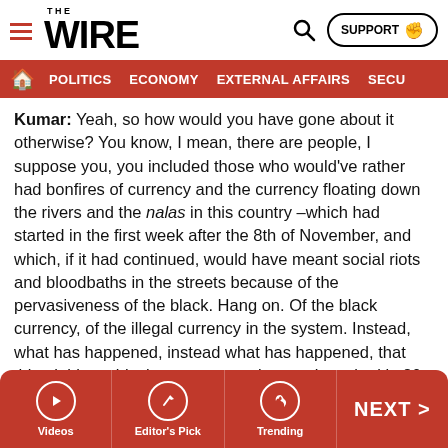THE WIRE — SUPPORT — Search — Navigation: POLITICS, ECONOMY, EXTERNAL AFFAIRS, SECU...
Kumar: Yeah, so how would you have gone about it otherwise? You know, I mean, there are people, I suppose you, you included those who would've rather had bonfires of currency and the currency floating down the rivers and the nalas in this country –which had started in the first week after the 8th of November, and which, if it had continued, would have meant social riots and bloodbaths in the streets because of the pervasiveness of the black. Hang on. Of the black currency, of the illegal currency in the system. Instead, what has happened, instead what has happened, that this, dubious, black currency etc. is now deposited in 80 lakh accounts, apparently.
Videos | Editor's Pick | Trending | NEXT >